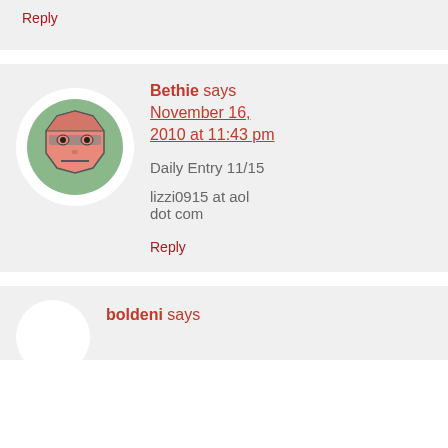Reply
[Figure (illustration): Cartoon avatar of a grumpy octagon-shaped face with glasses, pink/salmon color on a green circular background, white circle border]
Bethie says
November 16, 2010 at 11:43 pm
Daily Entry 11/15
lizzi0915 at aol dot com
Reply
boldeni says